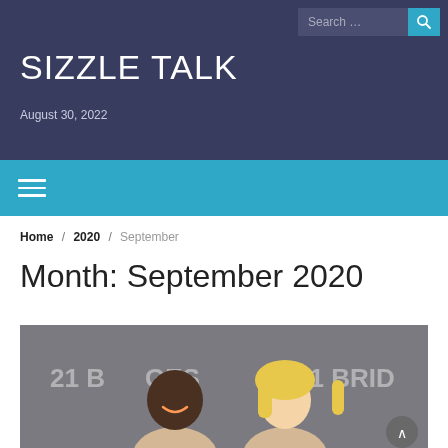SIZZLE TALK — August 30, 2022
Month: September 2020
Home / 2020 / September
[Figure (photo): Two people smiling in front of a '21 Bridges' movie premiere backdrop. A man with short hair on the left and a blonde woman on the right.]